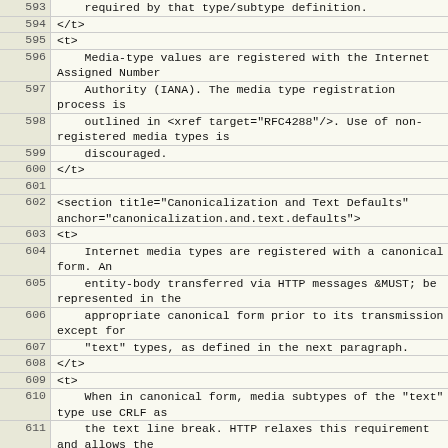| line | code |
| --- | --- |
| 593 |     required by that type/subtype definition. |
| 594 | </t> |
| 595 | <t> |
| 596 |     Media-type values are registered with the Internet Assigned Number |
| 597 |     Authority (IANA). The media type registration process is |
| 598 |     outlined in <xref target="RFC4288"/>. Use of non-registered media types is |
| 599 |     discouraged. |
| 600 | </t> |
| 601 |  |
| 602 | <section title="Canonicalization and Text Defaults" anchor="canonicalization.and.text.defaults"> |
| 603 | <t> |
| 604 |     Internet media types are registered with a canonical form. An |
| 605 |     entity-body transferred via HTTP messages &MUST; be represented in the |
| 606 |     appropriate canonical form prior to its transmission except for |
| 607 |     "text" types, as defined in the next paragraph. |
| 608 | </t> |
| 609 | <t> |
| 610 |     When in canonical form, media subtypes of the "text" type use CRLF as |
| 611 |     the text line break. HTTP relaxes this requirement and allows the |
| 612 |     transport of text media with plain CR or LF alone representing a line |
| 613 |     break when it is done consistently for an entire entity-body. HTTP |
| 614 |     applications &MUST; accept CRLF, bare CR, and bare LF as being |